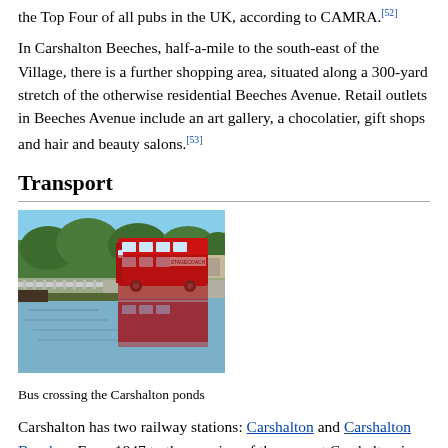the Top Four of all pubs in the UK, according to CAMRA.[52]
In Carshalton Beeches, half-a-mile to the south-east of the Village, there is a further shopping area, situated along a 300-yard stretch of the otherwise residential Beeches Avenue. Retail outlets in Beeches Avenue include an art gallery, a chocolatier, gift shops and hair and beauty salons.[53]
Transport
[Figure (photo): A red double-decker bus crossing the Carshalton ponds, with trees and buildings visible in the background and the bus reflected in the water.]
Bus crossing the Carshalton ponds
Carshalton has two railway stations: Carshalton and Carshalton Beeches. From 1847 to the opening of the current Carshalton in 1868 Wallington railway station was named Carshalton. Trains run